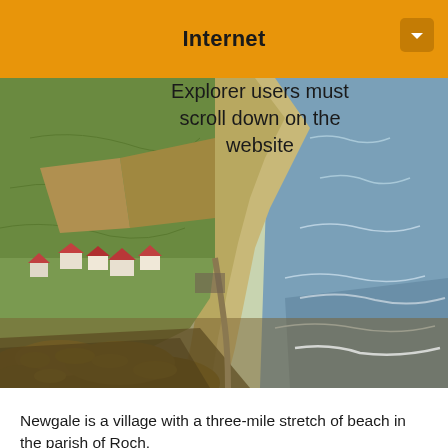Internet
[Figure (photo): Aerial view of Newgale beach, showing a long sandy/pebble spit stretching along the coastline with a small village, green fields to the left, and the sea to the right. Yellow gorse in the foreground.]
Explorer users must scroll down on the website
Newgale is a village with a three-mile stretch of beach in the parish of Roch.
The beach is backed by a large pebble bank which was created by a major storm on 25 October 1859, and which acts as a sea defence or storm beach.